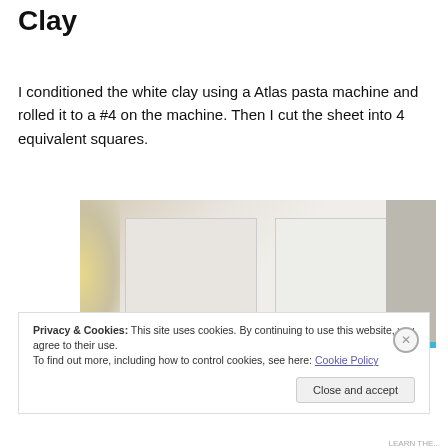Clay
I conditioned the white clay using a Atlas pasta machine and rolled it to a #4 on the machine. Then I cut the sheet into 4 equivalent squares.
[Figure (photo): Photo showing two white clay squares laid out side by side on a light surface, with a golden glow at the left edge.]
Privacy & Cookies: This site uses cookies. By continuing to use this website, you agree to their use.
To find out more, including how to control cookies, see here: Cookie Policy
Close and accept